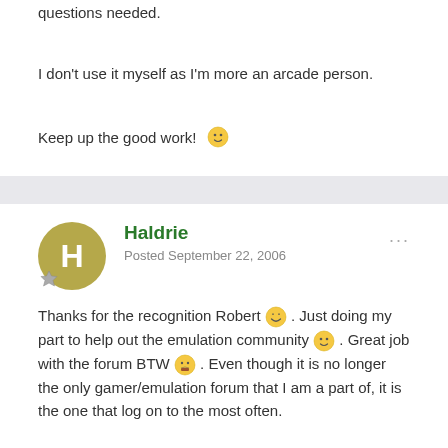questions needed.
I don't use it myself as I'm more an arcade person.
Keep up the good work! 🙂
Haldrie
Posted September 22, 2006
Thanks for the recognition Robert 😁 . Just doing my part to help out the emulation community 🙂 . Great job with the forum BTW 🤑 . Even though it is no longer the only gamer/emulation forum that I am a part of, it is the one that log on to the most often.
Also anyone viewing this topic should also take a look at this one: